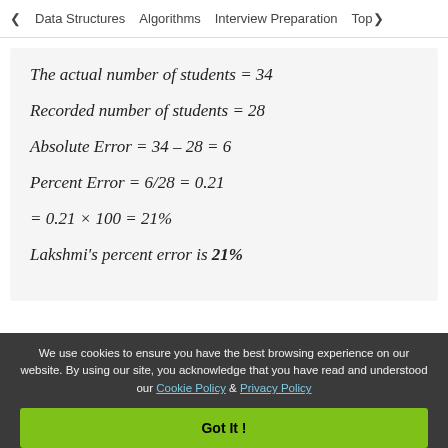< Data Structures   Algorithms   Interview Preparation   Top>
We use cookies to ensure you have the best browsing experience on our website. By using our site, you acknowledge that you have read and understood our Cookie Policy & Privacy Policy
Got It !